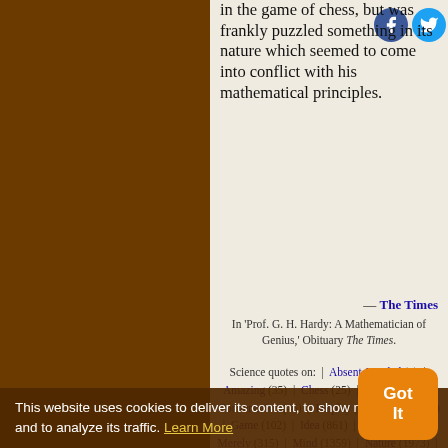in the game of chess, but was frankly puzzled something in its nature which seemed to come into conflict with his mathematical principles.
— The Times
In 'Prof. G. H. Hardy: A Mathematician of Genius,' Obituary The Times.
Science quotes on: | Absent-Minded (4) | Amazing (35) | Chess (25) | Conflict (76) | Conversation (46) | Display (57) | Form (967) | Game (102) | Idea (861) | Interest (404) | Merely (315) | Mind (1359) | Nature (1973) | Obituary (11) | Principle (522) | Professor (129) | Receive (115) | Shock (37) | Something (718) | Subject (532) | Sun (402) | Vitality (24)
This website uses cookies to deliver its content, to show relevant ads and to analyze its traffic. Learn More
Got It